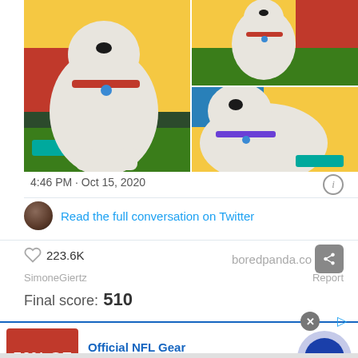[Figure (photo): Three photos of a white fluffy dog (Labradoodle/Poodle mix wearing a red collar) in front of colorful yellow, red and blue backdrop with artificial grass]
4:46 PM · Oct 15, 2020
Read the full conversation on Twitter
223.6K
boredpanda.com
SimoneGiertz
Report
Final score: 510
Official NFL Gear
Get Your Favorite Team's Gear Here
www.nflshop.com